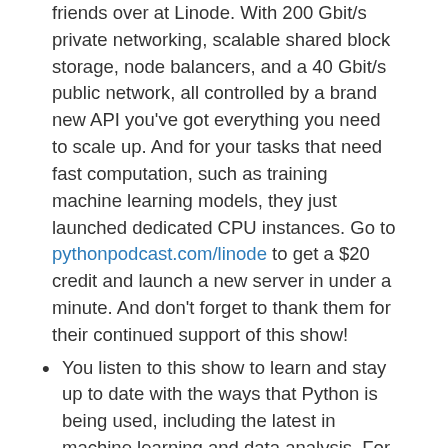friends over at Linode. With 200 Gbit/s private networking, scalable shared block storage, node balancers, and a 40 Gbit/s public network, all controlled by a brand new API you've got everything you need to scale up. And for your tasks that need fast computation, such as training machine learning models, they just launched dedicated CPU instances. Go to pythonpodcast.com/linode to get a $20 credit and launch a new server in under a minute. And don't forget to thank them for their continued support of this show!
You listen to this show to learn and stay up to date with the ways that Python is being used, including the latest in machine learning and data analysis. For even more opportunities to meet, listen, and learn from your peers you don't want to miss out on this